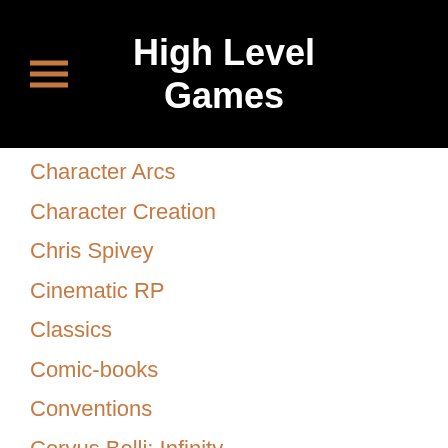High Level Games
Character Arcs
Character Creation
Chris Spivey
Cinematic RP
Classics
Comic-books
Conventions
Corvus Belli: Infinity
Crawl
Creators
Critical Role
Cthulhutech
D100 Dungeon
D20
D&D